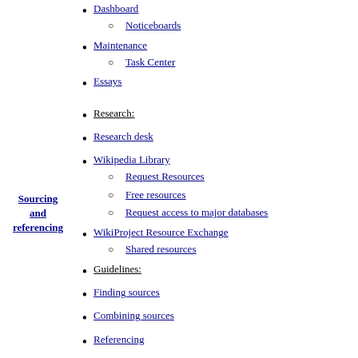Dashboard
Noticeboards
Maintenance
Task Center
Essays
Research:
Research desk
Wikipedia Library
Request Resources
Free resources
Request access to major databases
WikiProject Resource Exchange
Shared resources
Guidelines:
Finding sources
Combining sources
Referencing
Citations
Citation Style 1
Citation templates
Footnotes
Page numbers
Cite errors
Category
Sourcing and referencing